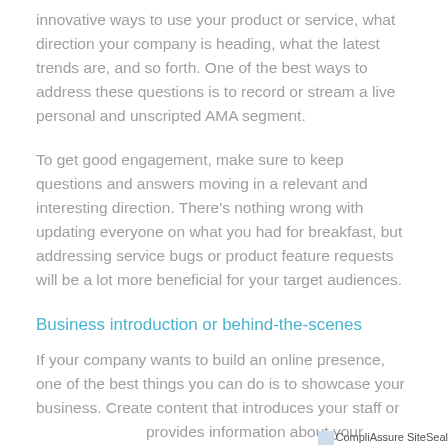innovative ways to use your product or service, what direction your company is heading, what the latest trends are, and so forth. One of the best ways to address these questions is to record or stream a live personal and unscripted AMA segment.
To get good engagement, make sure to keep questions and answers moving in a relevant and interesting direction. There's nothing wrong with updating everyone on what you had for breakfast, but addressing service bugs or product feature requests will be a lot more beneficial for your target audiences.
Business introduction or behind-the-scenes
If your company wants to build an online presence, one of the best things you can do is to showcase your business. Create content that introduces your staff or provides information about your products or services.